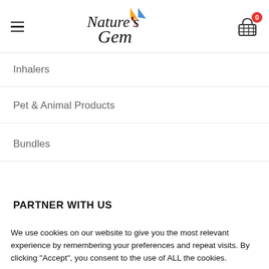Nature's Gem
Inhalers
Pet & Animal Products
Bundles
PARTNER WITH US
We use cookies on our website to give you the most relevant experience by remembering your preferences and repeat visits. By clicking “Accept”, you consent to the use of ALL the cookies.
Cookie settings  ACCEPT